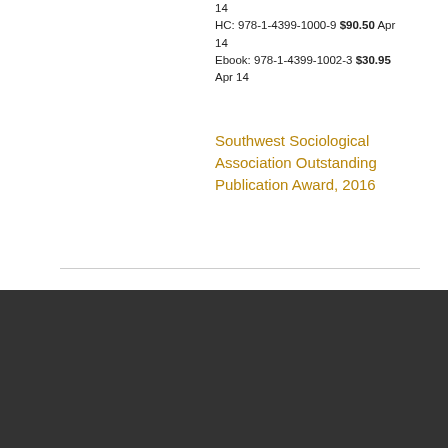14
HC: 978-1-4399-1000-9 $90.50 Apr 14
Ebook: 978-1-4399-1002-3 $30.95 Apr 14
Southwest Sociological Association Outstanding Publication Award, 2016
Temple University Press
1900 N. 13th Street
Philadelphia, PA 19122
Temple University People at the Press
Contact